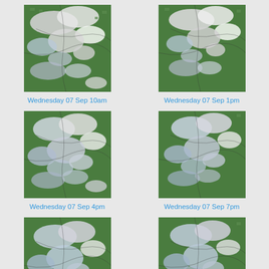[Figure (map): Satellite/cloud cover map image for Wednesday 07 Sep 10am]
Wednesday 07 Sep 10am
[Figure (map): Satellite/cloud cover map image for Wednesday 07 Sep 1pm]
Wednesday 07 Sep 1pm
[Figure (map): Satellite/cloud cover map image for Wednesday 07 Sep 4pm]
Wednesday 07 Sep 4pm
[Figure (map): Satellite/cloud cover map image for Wednesday 07 Sep 7pm]
Wednesday 07 Sep 7pm
[Figure (map): Satellite/cloud cover map image for Wednesday 07 Sep 10pm]
Wednesday 07 Sep 10pm
[Figure (map): Satellite/cloud cover map image for Thursday 08 Sep 1am]
Thursday 08 Sep 1am
[Figure (map): Partial satellite/cloud cover map image (bottom, cut off)]
[Figure (map): Partial satellite/cloud cover map image (bottom, cut off)]